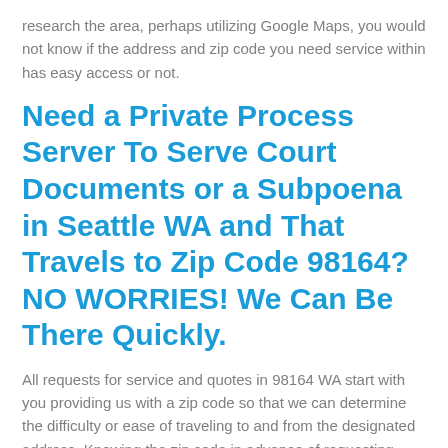research the area, perhaps utilizing Google Maps, you would not know if the address and zip code you need service within has easy access or not.
Need a Private Process Server To Serve Court Documents or a Subpoena in Seattle WA and That Travels to Zip Code 98164? NO WORRIES! We Can Be There Quickly.
All requests for service and quotes in 98164 WA start with you providing us with a zip code so that we can determine the difficulty or ease of traveling to and from the designated address. Knowing the zip code in advance of requesting services will assist you with obtaining a fair and reasonable quote for anticipated services.